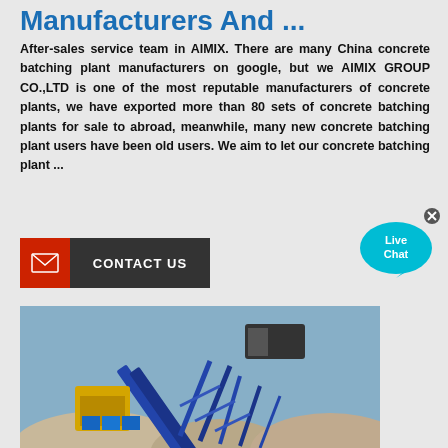Manufacturers And ...
After-sales service team in AIMIX. There are many China concrete batching plant manufacturers on google, but we AIMIX GROUP CO.,LTD is one of the most reputable manufacturers of concrete plants, we have exported more than 80 sets of concrete batching plants for sale to abroad, meanwhile, many new concrete batching plant users have been old users. We aim to let our concrete batching plant ...
[Figure (other): CONTACT US button with red envelope icon on left and dark grey label on right]
[Figure (other): Live Chat speech bubble widget in cyan/blue]
[Figure (photo): Outdoor photo of a concrete batching plant with blue conveyor belt and aggregate piles]